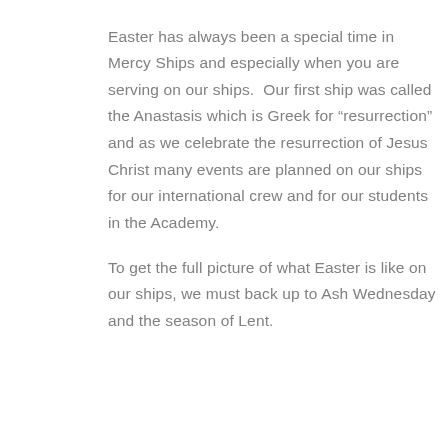Easter has always been a special time in Mercy Ships and especially when you are serving on our ships.  Our first ship was called the Anastasis which is Greek for “resurrection” and as we celebrate the resurrection of Jesus Christ many events are planned on our ships for our international crew and for our students in the Academy.
To get the full picture of what Easter is like on our ships, we must back up to Ash Wednesday and the season of Lent.